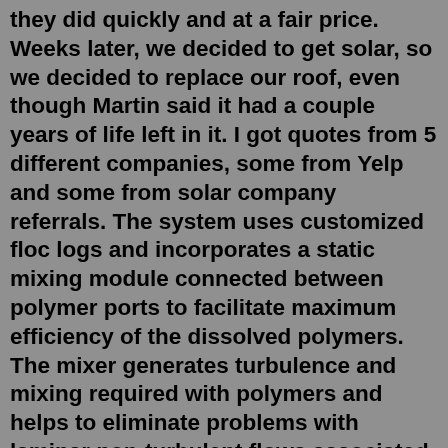they did quickly and at a fair price. Weeks later, we decided to get solar, so we decided to replace our roof, even though Martin said it had a couple years of life left in it. I got quotes from 5 different companies, some from Yelp and some from solar company referrals. The system uses customized floc logs and incorporates a static mixing module connected between polymer ports to facilitate maximum efficiency of the dissolved polymers. The mixer generates turbulence and mixing required with polymers and helps to eliminate problems with laminar non-turbulent flows associated with pipe systems. Beauty & Durability. ClearCreek Siding is the Leading Manufacturer of Concrete Log and Timber Siding with hundreds of beautifully designed projects throughout the United States & Canada. We have been in business since 2001 and our products are manufactured right here in SW Missouri. Get information, directions, products, services, phone numbers, and reviews on Everlasting Concrete in Apple Valley, undefined Discover more Concrete